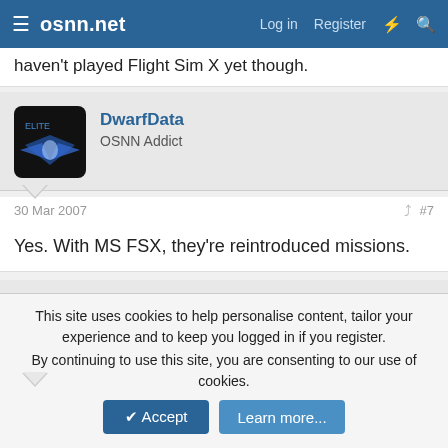osnn.net  Log in  Register
haven't played Flight Sim X yet though.
DwarfData
OSNN Addict
30 Mar 2007  #7
Yes. With MS FSX, they're reintroduced missions.
epk
OSNN Veteran Addict  Political Access
30 Mar 2007  #8
This site uses cookies to help personalise content, tailor your experience and to keep you logged in if you register.
By continuing to use this site, you are consenting to our use of cookies.